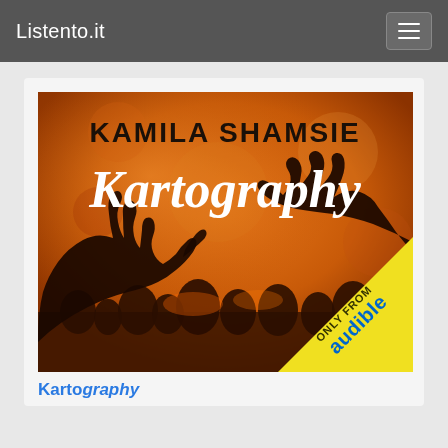Listento.it
[Figure (photo): Audiobook cover for 'Kartography' by Kamila Shamsie. Orange/amber background with two silhouetted hands reaching toward each other. Text reads 'KAMILA SHAMSIE' in bold black at the top and 'Kartography' in white cursive script below. Bottom-right corner has a yellow diagonal banner reading 'ONLY FROM audible'.]
Kartography